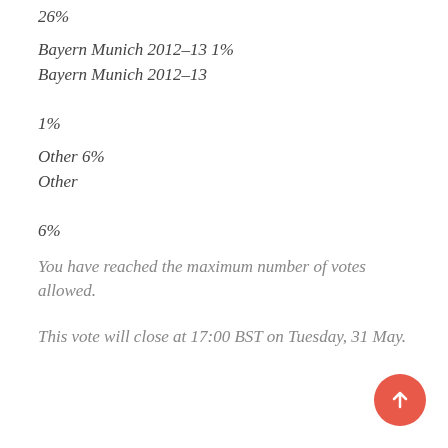26%
Bayern Munich 2012–13 1%
Bayern Munich 2012–13
1%
Other 6%
Other
6%
You have reached the maximum number of votes allowed.
This vote will close at 17:00 BST on Tuesday, 31 May.